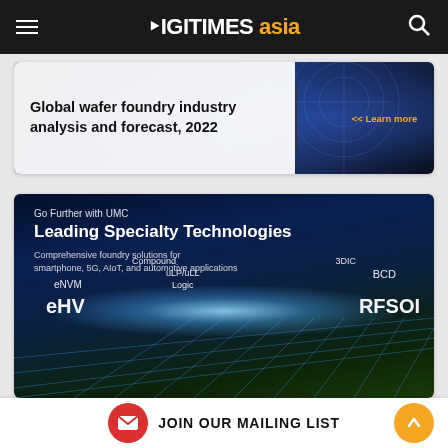DIGITIMES asia
[Figure (illustration): Advertisement banner for 'Global wafer foundry industry analysis and forecast, 2022' with blue tech background and Learn more link]
[Figure (illustration): UMC advertisement: Go Further with UMC - Leading Specialty Technologies. Comprehensive foundry solutions for smartphone, 5G, AIoT, and automotive applications. Shows technology grid with labels: eNVM, Compound, uLP/uLL, Logic, 3DIC, BCD, eHV, RFSOI]
JOIN OUR MAILING LIST